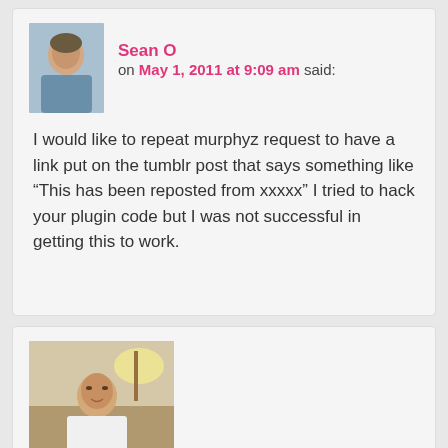Sean O on May 1, 2011 at 9:09 am said:
I would like to repeat murphyz request to have a link put on the tumblr post that says something like “This has been reposted from xxxxx” I tried to hack your plugin code but I was not successful in getting this to work.
[Figure (photo): Avatar photo of Sean O, an older man in a blue shirt against a light background]
[Figure (photo): Avatar photo of brian gorbett, a young man in a white shirt in an indoor setting]
brian gorbett on April 2, 2011 at 12:00 pm said:
I added my credentials to tumble.php but keep getting the error: “Tumble Error There was an